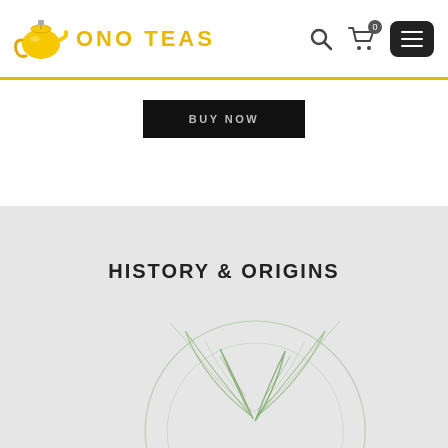ONO TEAS
BUY NOW
HISTORY & ORIGINS
[Figure (illustration): Decorative line art illustration of tea leaves and circular swirling lines in light green, shown partially at the bottom of the page]